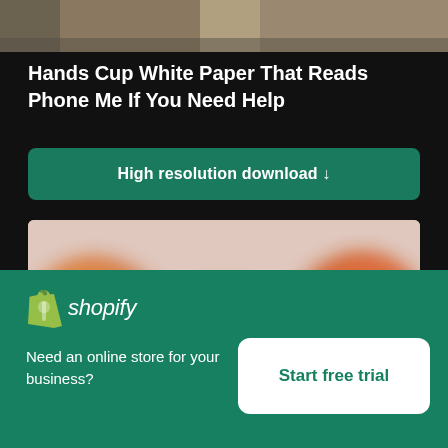[Figure (photo): Top portion of a photo showing hands or clothing in brown/khaki tones, cropped at top]
Hands Cup White Paper That Reads Phone Me If You Need Help
[Figure (other): Green download button with text 'High resolution download' and down arrow]
[Figure (photo): Blurry close-up photo of three orange/red food items (possibly strawberries or fruit) on a pink/beige background]
[Figure (logo): Shopify logo with bag icon and italic wordmark on green background, with 'Need an online store for your business?' text and 'Start free trial' white button]